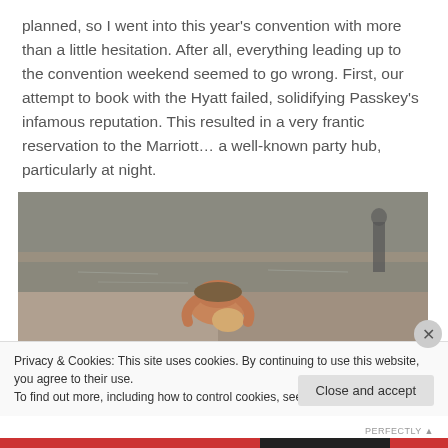planned, so I went into this year's convention with more than a little hesitation. After all, everything leading up to the convention weekend seemed to go wrong. First, our attempt to book with the Hyatt failed, solidifying Passkey's infamous reputation. This resulted in a very frantic reservation to the Marriott… a well-known party hub, particularly at night.
[Figure (photo): A person bent over on a wet beach/shoreline, viewed from above. Sandy and wet ground visible. Another figure visible in background upper right.]
Privacy & Cookies: This site uses cookies. By continuing to use this website, you agree to their use.
To find out more, including how to control cookies, see here: Cookie Policy